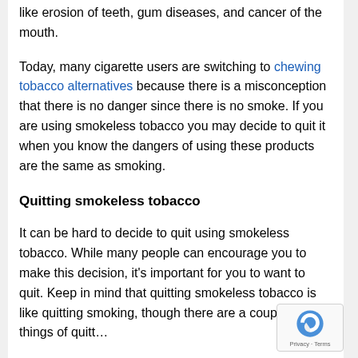like erosion of teeth, gum diseases, and cancer of the mouth.
Today, many cigarette users are switching to chewing tobacco alternatives because there is a misconception that there is no danger since there is no smoke. If you are using smokeless tobacco you may decide to quit it when you know the dangers of using these products are the same as smoking.
Quitting smokeless tobacco
It can be hard to decide to quit using smokeless tobacco. While many people can encourage you to make this decision, it's important for you to want to quit. Keep in mind that quitting smokeless tobacco is like quitting smoking, though there are a couple of things of quitt...